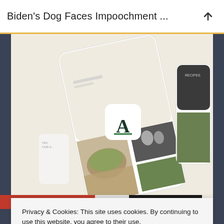Biden's Dog Faces Impoochment ...
[Figure (screenshot): Screenshot of a recipe/food app showing a tilted mobile phone display with food photos, an app icon with letter A, and a beige/cream colored interface with food imagery]
Privacy & Cookies: This site uses cookies. By continuing to use this website, you agree to their use.
To find out more, including how to control cookies, see here: Cookie Policy
Close and accept